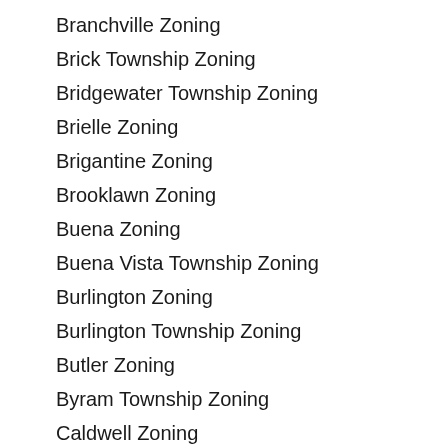Branchville Zoning
Brick Township Zoning
Bridgewater Township Zoning
Brielle Zoning
Brigantine Zoning
Brooklawn Zoning
Buena Zoning
Buena Vista Township Zoning
Burlington Zoning
Burlington Township Zoning
Butler Zoning
Byram Township Zoning
Caldwell Zoning
Califon Zoning
Camden Zoning
Carlstadt Zoning
Carteret Zoning